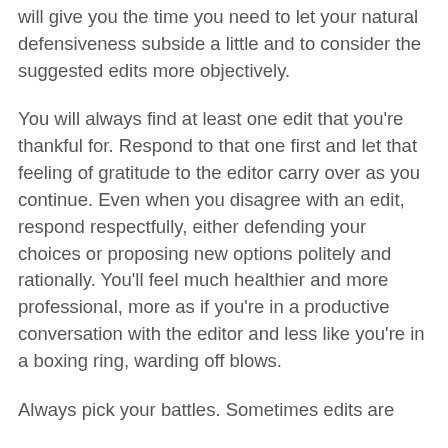will give you the time you need to let your natural defensiveness subside a little and to consider the suggested edits more objectively.
You will always find at least one edit that you're thankful for. Respond to that one first and let that feeling of gratitude to the editor carry over as you continue. Even when you disagree with an edit, respond respectfully, either defending your choices or proposing new options politely and rationally. You'll feel much healthier and more professional, more as if you're in a productive conversation with the editor and less like you're in a boxing ring, warding off blows.
Always pick your battles. Sometimes edits are